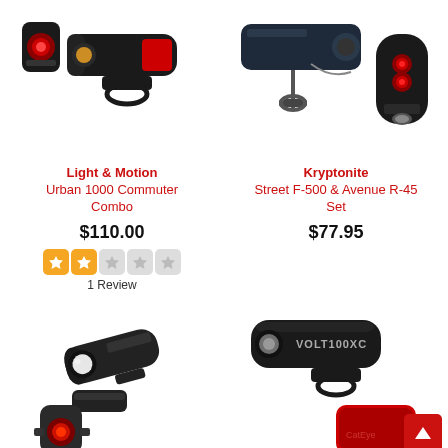[Figure (photo): Light & Motion Urban 1000 Commuter Combo bike light set product photo - front light and rear red light]
[Figure (photo): Kryptonite Street F-500 & Avenue R-45 Set bike light set product photo - front light mounted on handlebar and oval rear red light]
Light & Motion Urban 1000 Commuter Combo
$110.00
[Figure (other): 2-star rating out of 5 stars (orange filled stars)]
1 Review
Kryptonite Street F-500 & Avenue R-45 Set
$77.95
[Figure (photo): Cateye bike light combo set - front light and small rear red light]
[Figure (photo): Cateye Volt 100XC bike light set - cylindrical front light and partial rear light]